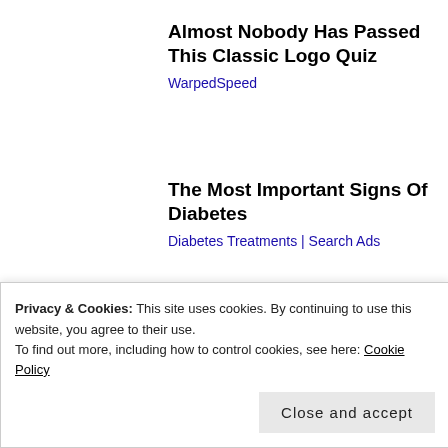Almost Nobody Has Passed This Classic Logo Quiz
WarpedSpeed
The Most Important Signs Of Diabetes
Diabetes Treatments | Search Ads
Share this:
Privacy & Cookies: This site uses cookies. By continuing to use this website, you agree to their use.
To find out more, including how to control cookies, see here: Cookie Policy
Close and accept